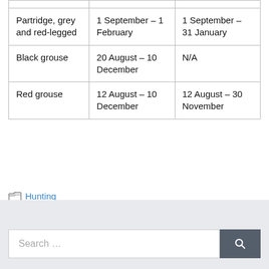| Partridge, grey and red-legged | 1 September – 1 February | 1 September – 31 January |
| Black grouse | 20 August – 10 December | N/A |
| Red grouse | 12 August – 10 December | 12 August – 30 November |
Hunting
Search ...